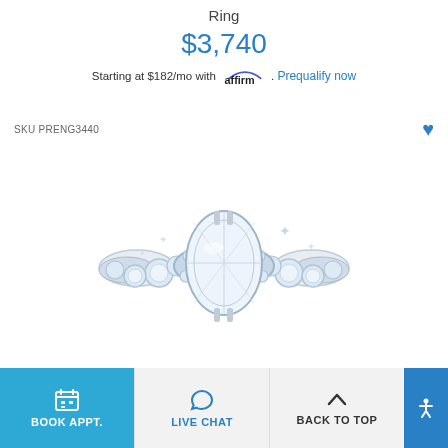Ring
$3,740
Starting at $182/mo with affirm. Prequalify now
SKU PRENG3440
[Figure (photo): Diamond engagement ring with large oval center stone in white gold setting with pavé diamond band, shown on white background]
BOOK APPT.
LIVE CHAT
BACK TO TOP